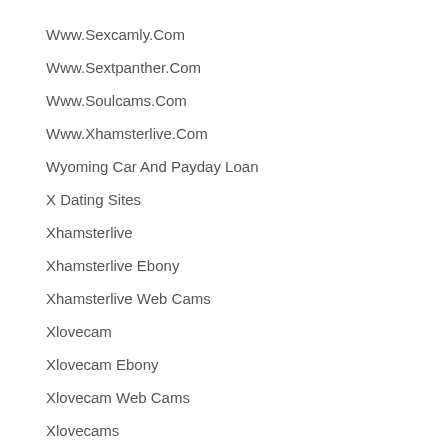Www.Sexcamly.Com
Www.Sextpanther.Com
Www.Soulcams.Com
Www.Xhamsterlive.Com
Wyoming Car And Payday Loan
X Dating Sites
Xhamsterlive
Xhamsterlive Ebony
Xhamsterlive Web Cams
Xlovecam
Xlovecam Ebony
Xlovecam Web Cams
Xlovecams